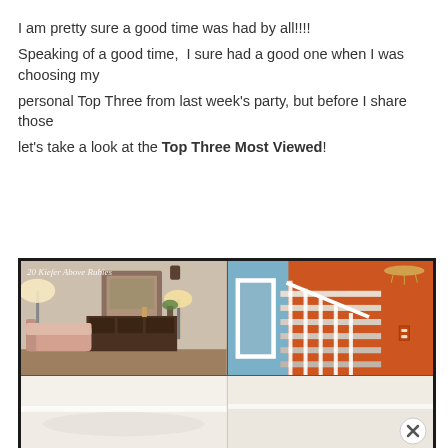I am pretty sure a good time was had by all!!!!
Speaking of a good time,  I sure had a good one when I was choosing my
personal Top Three from last week's party, but before I share those
let's take a look at the Top Three Most Viewed!
[Figure (photo): A collage of two interior home photos on top and one on the bottom row. Top-left: a cozy vintage living room with pink sofa, lamp, dark wood dresser, and wall art. Top-right: a staircase with bright orange and blue walls with white railings. Bottom: a bright white kitchen or table surface.]